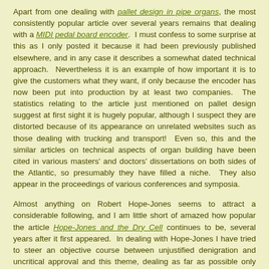Apart from one dealing with pallet design in pipe organs, the most consistently popular article over several years remains that dealing with a MIDI pedal board encoder. I must confess to some surprise at this as I only posted it because it had been previously published elsewhere, and in any case it describes a somewhat dated technical approach. Nevertheless it is an example of how important it is to give the customers what they want, if only because the encoder has now been put into production by at least two companies. The statistics relating to the article just mentioned on pallet design suggest at first sight it is hugely popular, although I suspect they are distorted because of its appearance on unrelated websites such as those dealing with trucking and transport! Even so, this and the similar articles on technical aspects of organ building have been cited in various masters' and doctors' dissertations on both sides of the Atlantic, so presumably they have filled a niche. They also appear in the proceedings of various conferences and symposia.
Almost anything on Robert Hope-Jones seems to attract a considerable following, and I am little short of amazed how popular the article Hope-Jones and the Dry Cell continues to be, several years after it first appeared. In dealing with Hope-Jones I have tried to steer an objective course between unjustified denigration and uncritical approval and this theme, dealing as far as possible only with facts rather than opinion and speculation, deliberately pervades the whole site. However it exposes me rather easily to criticism where I happen to be wrong, so I am always grateful to those who take the trouble to point out any errors. I am also grateful for the good humour and